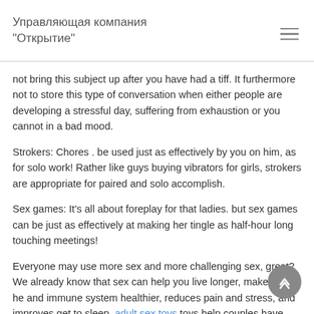Управляющая компания "Открытие"
not bring this subject up after you have had a tiff. It furthermore not to store this type of conversation when either people are developing a stressful day, suffering from exhaustion or you cannot in a bad mood.
Strokers: Chores . be used just as effectively by you on him, as for solo work! Rather like guys buying vibrators for girls, strokers are appropriate for paired and solo accomplish.
Sex games: It's all about foreplay for that ladies. but sex games can be just as effectively at making her tingle as half-hour long touching meetings!
Everyone may use more sex and more challenging sex, great? We already know that sex can help you live longer, makes your he and immune system healthier, reduces pain and stress, and improves get to sleep. adult sex toys toys help couples have more